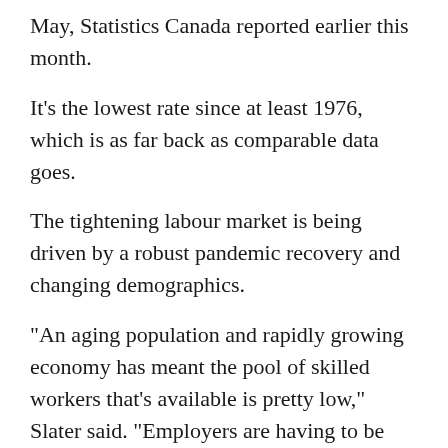May, Statistics Canada reported earlier this month.
It's the lowest rate since at least 1976, which is as far back as comparable data goes.
The tightening labour market is being driven by a robust pandemic recovery and changing demographics.
"An aging population and rapidly growing economy has meant the pool of skilled workers that's available is pretty low," Slater said. "Employers are having to be much more creative."
The survey of Canadian employers was conducted to find out what employers are doing differently to fill some of the labour gaps, she said.
The poll found employers are increasingly willing to hire based on skills such as communication,